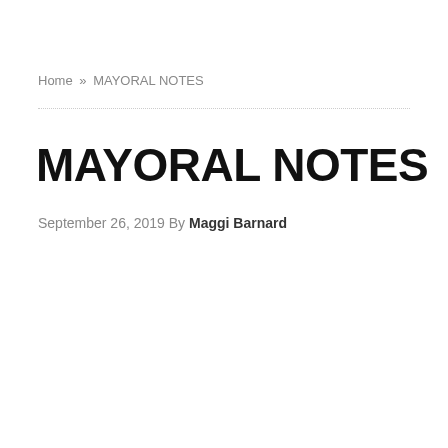Home » MAYORAL NOTES
MAYORAL NOTES
September 26, 2019 By Maggi Barnard